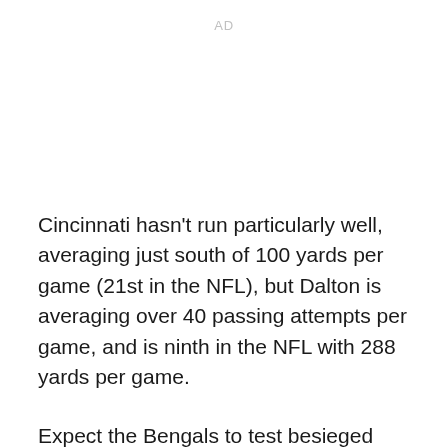AD
Cincinnati hasn't run particularly well, averaging just south of 100 yards per game (21st in the NFL), but Dalton is averaging over 40 passing attempts per game, and is ninth in the NFL with 288 yards per game.
Expect the Bengals to test besieged Steelers cornerback Ike Taylor outside the numbers, the way teams have been through the Steelers' first five games. Against Tennessee, the Steelers played a Cover 1